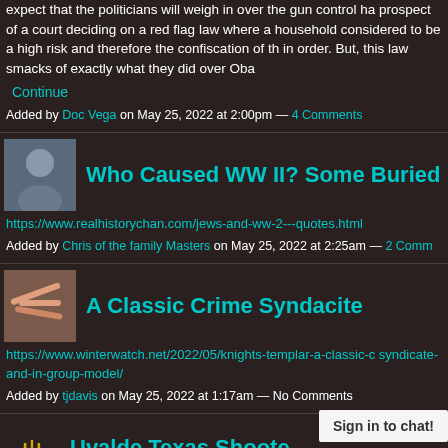expect that the politicians will weigh in over the gun control ha prospect of a court deciding on a red flag law where a household considered to be a high risk and therefore the confiscation of th in order. But, this law smacks of exactly what they did over Oba
Continue
Added by Doc Vega on May 25, 2022 at 2:00pm — 4 Comments
Who Caused WW II? Some Buried VIP Q
https://www.realhistorychan.com/jews-and-ww-2---quotes.html
Added by Chris of the family Masters on May 25, 2022 at 2:25am — 2 Comm
A Classic Crime Syndacite
https://www.winterwatch.net/2022/05/knights-templar-a-classic-c syndicate-and-in-group-model/
Added by tjdavis on May 25, 2022 at 1:17am — No Comments
Uvalde Texas Shoote
Sign in to chat!